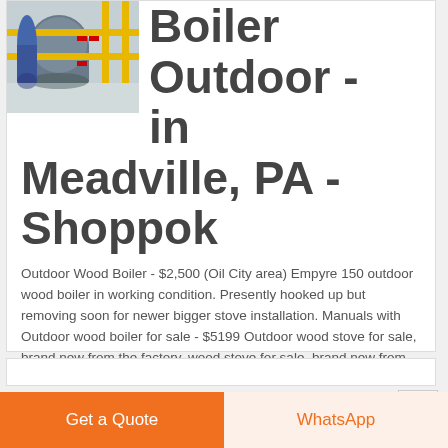[Figure (photo): Industrial boiler room with blue and yellow pipes and equipment]
Boiler Outdoor - in Meadville, PA - Shoppok
Outdoor Wood Boiler - $2,500 (Oil City area) Empyre 150 outdoor wood boiler in working condition. Presently hooked up but removing soon for newer bigger stove installation. Manuals with Outdoor wood boiler for sale - $5199 Outdoor wood stove for sale, brand new from the factory. wood stove for sale, brand new from the factory.
GET A QUOTE
Get a Quote
WhatsApp